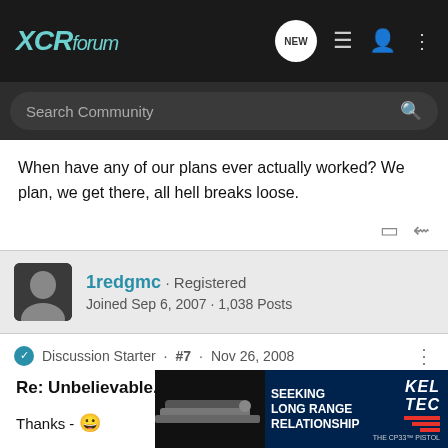XCRforum
Search Community
When have any of our plans ever actually worked? We plan, we get there, all hell breaks loose.
1redgmc · Registered
Joined Sep 6, 2007 · 1,038 Posts
Discussion Starter · #7 · Nov 26, 2008
Re: Unbelievable...
Thanks - 🙂
I'm not u... the
[Figure (screenshot): Kel-Tec CP33 pistol advertisement: SEEKING LONG RANGE RELATIONSHIP]